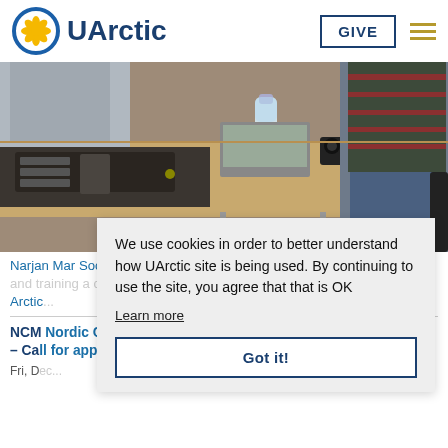UArctic
[Figure (photo): People sitting around a conference table with a projector, water bottle, and cameras on the table. A person in a striped shirt is visible on the right.]
Narjan Mar Social Humanitarian College held a meeting of the students and training a competence for Arctic
We use cookies in order to better understand how UArctic site is being used. By continuing to use the site, you agree that that is OK
Learn more
Got it!
NCM Nordic Co-operation Programme – Call for applications for 2015
Fri, De...